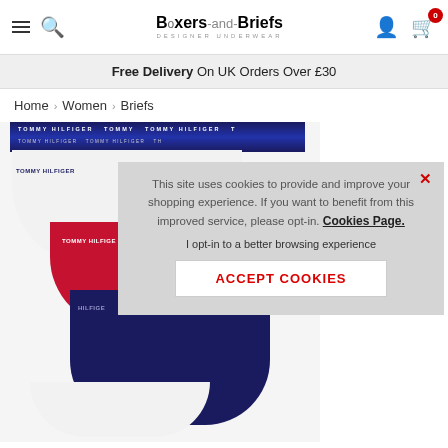Boxers-and-Briefs DESIGNER UNDERWEAR
Free Delivery On UK Orders Over £30
Home > Women > Briefs
[Figure (photo): Tommy Hilfiger women's briefs in white, red, and navy stacked together]
This site uses cookies to provide and improve your shopping experience. If you want to benefit from this improved service, please opt-in. Cookies Page. I opt-in to a better browsing experience ACCEPT COOKIES